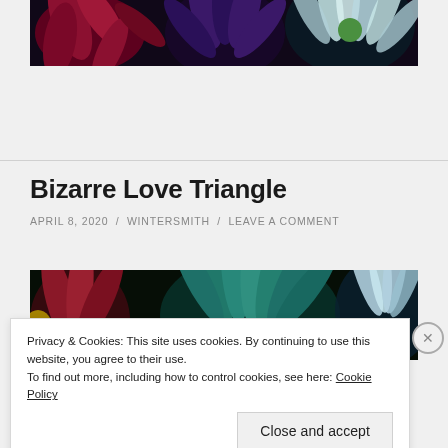[Figure (photo): Partial view of colorful daisy flowers on dark background — red/pink, purple, and white/teal daisies]
Bizarre Love Triangle
APRIL 8, 2020 / WINTERSMITH / LEAVE A COMMENT
[Figure (photo): Close-up of colorful daisy flowers on dark background — red, teal, and blue/white petals]
Privacy & Cookies: This site uses cookies. By continuing to use this website, you agree to their use.
To find out more, including how to control cookies, see here: Cookie Policy
Close and accept